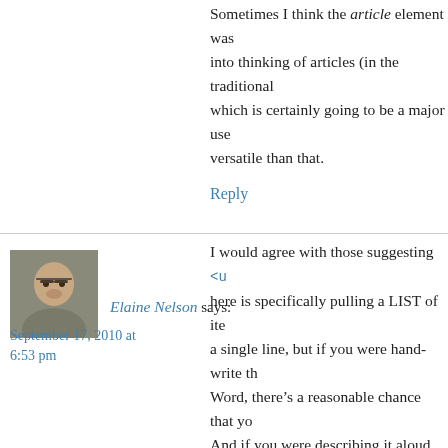Sometimes I think the article element was into thinking of articles (in the traditional which is certainly going to be a major use versatile than that.
Reply
[Figure (photo): Avatar photo of Elaine Nelson, a person with glasses]
Elaine Nelson says:
September 17, 2010 at 6:53 pm
I would agree with those suggesting <u here is specifically pulling a LIST of ite a single line, but if you were hand-write th Word, there's a reasonable chance that yo And if you were describing it aloud, I'd b going to the store and buying a gallon of r cereal. All of that leads me to think “list.”
Alternatively, I’d go with B (<article>
For extra semantic goodness one might pu information inside of a <dl> inside the <l or difficult it is to do that with the CMS.
To extend on that thought: if I were runni